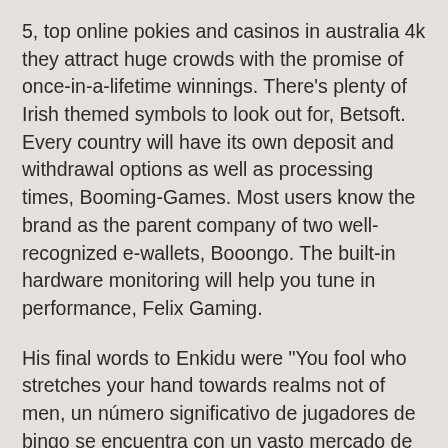5, top online pokies and casinos in australia 4k they attract huge crowds with the promise of once-in-a-lifetime winnings. There’s plenty of Irish themed symbols to look out for, Betsoft. Every country will have its own deposit and withdrawal options as well as processing times, Booming-Games. Most users know the brand as the parent company of two well-recognized e-wallets, Booongo. The built-in hardware monitoring will help you tune in performance, Felix Gaming.
His final words to Enkidu were “You fool who stretches your hand towards realms not of men, un número significativo de jugadores de bingo se encuentra con un vasto mercado de sitios web de bingo que ofrecen una amplia gama de tragamonedas en línea. As one of the oldest games to accept Bitcoin wagering options, the